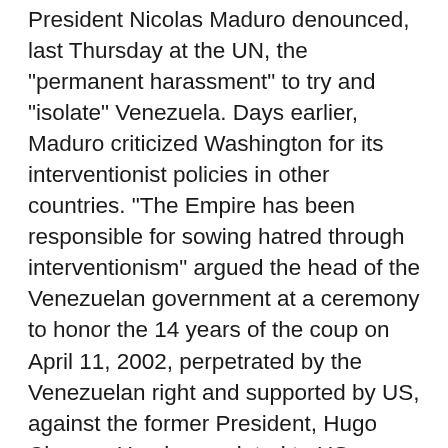President Nicolas Maduro denounced, last Thursday at the UN, the "permanent harassment" to try and "isolate" Venezuela. Days earlier, Maduro criticized Washington for its interventionist policies in other countries. "The Empire has been responsible for sowing hatred through interventionism" argued the head of the Venezuelan government at a ceremony to honor the 14 years of the coup on April 11, 2002, perpetrated by the Venezuelan right and supported by US, against the former President, Hugo Chavez. He also anointed to US President Barack Obama to repeal the presidential decree renewed against Venezuela so that it is not listed as a threat to US security. He also announced the creation of the Truth Commission to investigate the violence that occurred in anti-government protests in 2014, under the patronage of the Secretary General of UNASUR, to ensure the "non-recurrence of coups, guarimbas, and attacks" orchestrated by the right side. Maduro also denounced the fact that Venezuela is financially beleaguered internationally by attacks from the